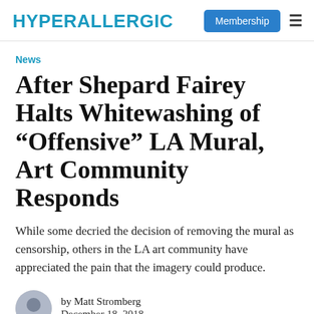HYPERALLERGIC
News
After Shepard Fairey Halts Whitewashing of “Offensive” LA Mural, Art Community Responds
While some decried the decision of removing the mural as censorship, others in the LA art community have appreciated the pain that the imagery could produce.
by Matt Stromberg
December 18, 2018